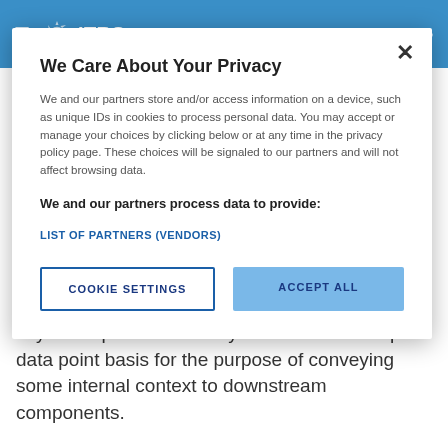ITRS Documentation
We Care About Your Privacy
We and our partners store and/or access information on a device, such as unique IDs in cookies to process personal data. You may accept or manage your choices by clicking below or at any time in the privacy policy page. These choices will be signaled to our partners and will not affect browsing data.
We and our partners process data to provide:
LIST OF PARTNERS (VENDORS)
COOKIE SETTINGS
ACCEPT ALL
key/value pairs which may be attached on a per data point basis for the purpose of conveying some internal context to downstream components.